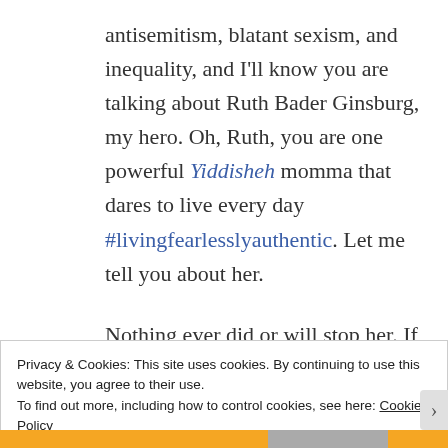antisemitism, blatant sexism, and inequality, and I'll know you are talking about Ruth Bader Ginsburg, my hero. Oh, Ruth, you are one powerful Yiddisheh momma that dares to live every day #livingfearlesslyauthentic. Let me tell you about her.
Nothing ever did or will stop her. If
Privacy & Cookies: This site uses cookies. By continuing to use this website, you agree to their use.
To find out more, including how to control cookies, see here: Cookie Policy